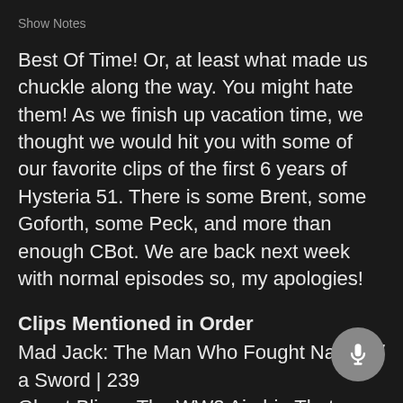Show Notes
Best Of Time! Or, at least what made us chuckle along the way. You might hate them! As we finish up vacation time, we thought we would hit you with some of our favorite clips of the first 6 years of Hysteria 51. There is some Brent, some Goforth, some Peck, and more than enough CBot. We are back next week with normal episodes so, my apologies!
Clips Mentioned in Order
Mad Jack: The Man Who Fought Nazis w/ a Sword | 239
Ghost Blimp: The WW2 Airship That Returned Without A Crew | 243
The Circleville Letters | 213